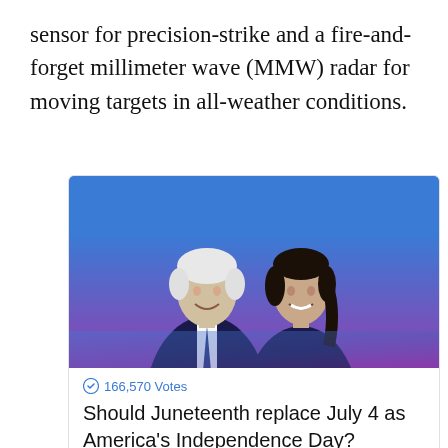sensor for precision-strike and a fire-and-forget millimeter wave (MMW) radar for moving targets in all-weather conditions.
[Figure (photo): Two people standing together against a blue-to-purple gradient background. An older man on the left with white hair wearing a dark suit and tie, and a woman on the right with dark hair wearing a dark jacket.]
166,570 Votes
Should Juneteenth replace July 4 as America's Independence Day?